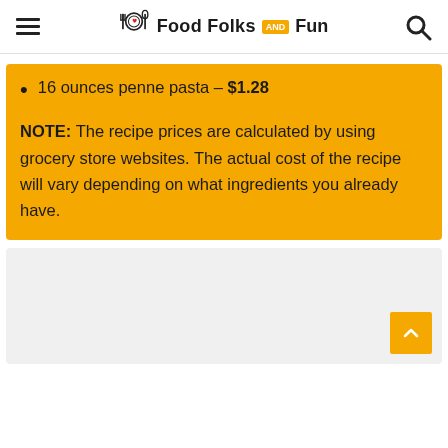Food Folks and Fun
16 ounces penne pasta – $1.28
NOTE: The recipe prices are calculated by using grocery store websites. The actual cost of the recipe will vary depending on what ingredients you already have.
[Figure (other): Gray placeholder content area at bottom of page with a yellow scroll-to-top button in the bottom right corner]